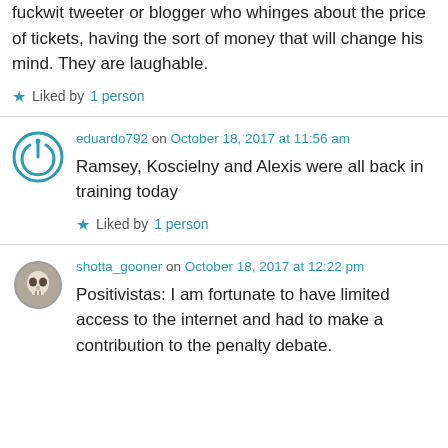fuckwit tweeter or blogger who whinges about the price of tickets, having the sort of money that will change his mind. They are laughable.
Liked by 1 person
eduardo792 on October 18, 2017 at 11:56 am
Ramsey, Koscielny and Alexis were all back in training today
Liked by 1 person
shotta_gooner on October 18, 2017 at 12:22 pm
Positivistas: I am fortunate to have limited access to the internet and had to make a contribution to the penalty debate.